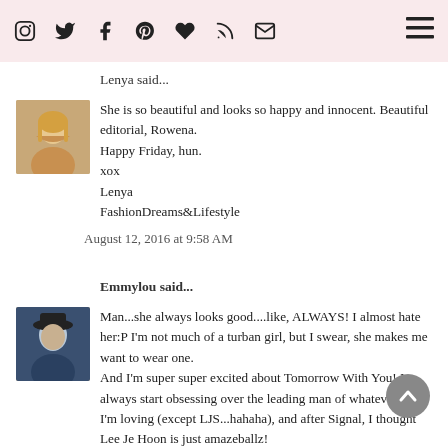[social icons: Instagram, Twitter, Facebook, Pinterest, Heart, RSS, Email] [hamburger menu]
Lenya said...
She is so beautiful and looks so happy and innocent. Beautiful editorial, Rowena.
Happy Friday, hun.
xox
Lenya
FashionDreams&Lifestyle
August 12, 2016 at 9:58 AM
Emmylou said...
Man...she always looks good....like, ALWAYS! I almost hate her:P I'm not much of a turban girl, but I swear, she makes me want to wear one.
And I'm super super excited about Tomorrow With You! I always start obsessing over the leading man of whatever show I'm loving (except LJS...hahaha), and after Signal, I thought Lee Je Hoon is just amazeballz!
August 12, 2016 at 10:15 AM